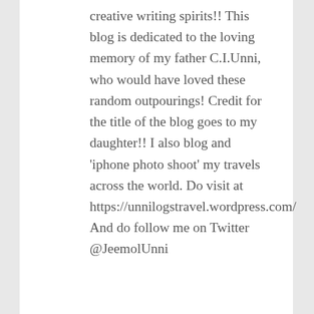creative writing spirits!! This blog is dedicated to the loving memory of my father C.I.Unni, who would have loved these random outpourings! Credit for the title of the blog goes to my daughter!! I also blog and 'iphone photo shoot' my travels across the world. Do visit at https://unnilogstravel.wordpress.com/ And do follow me on Twitter @JeemolUnni
Advertisements
[Figure (infographic): Red advertisement banner for Pocket Casts app with text 'An app by listeners, for listeners.' and Pocket Casts logo on the right, with a phone image showing the app.]